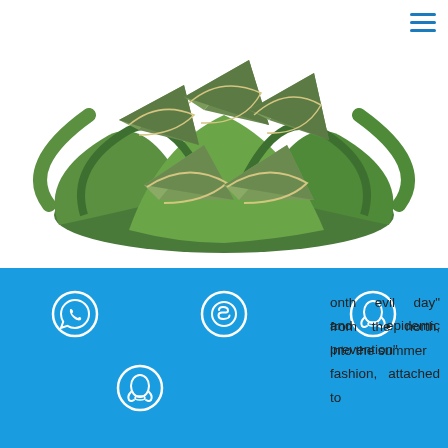[Figure (photo): Zongzi (sticky rice dumplings wrapped in bamboo leaves) arranged on green leaves, viewed from above on white background]
Dragon Boat Festival is the ancient folk festival, originated in China, South Korea's jiangling Dragon Boat Festival earlier, the original is the ancient jiangsu and zhejiang area of wuyue tribe worship dragon totem and dragon boat racing form worship dragon zu festival. Also has originated in the evil month evil day, the summer season, as well as the memory of qu yuan, wu zixu, cao e and so on. In general, the
onth evil day" from the north, into the summer and epidemic prevention" fashion, attached to